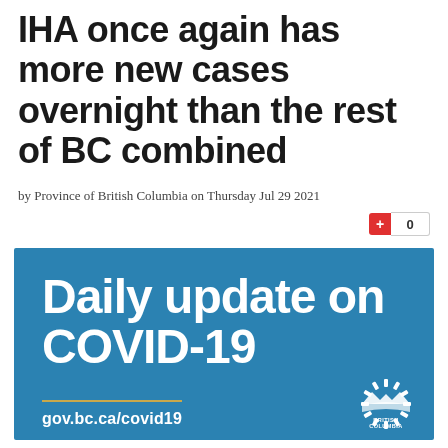IHA once again has more new cases overnight than the rest of BC combined
by Province of British Columbia on Thursday Jul 29 2021
+ 0
[Figure (infographic): Blue background card with white bold text reading 'Daily update on COVID-19', gold horizontal line, website URL 'gov.bc.ca/covid19' in white, and British Columbia government logo in bottom right corner.]